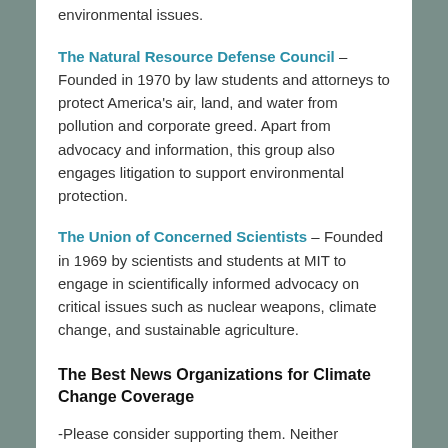environmental issues.
The Natural Resource Defense Council – Founded in 1970 by law students and attorneys to protect America's air, land, and water from pollution and corporate greed. Apart from advocacy and information, this group also engages litigation to support environmental protection.
The Union of Concerned Scientists – Founded in 1969 by scientists and students at MIT to engage in scientifically informed advocacy on critical issues such as nuclear weapons, climate change, and sustainable agriculture.
The Best News Organizations for Climate Change Coverage
-Please consider supporting them. Neither accepts corporate sponsors, which is a key reason they are the best source of news on climate change. Both of these are politically left of center, but that has more to do with respect for science and concern with justice when it